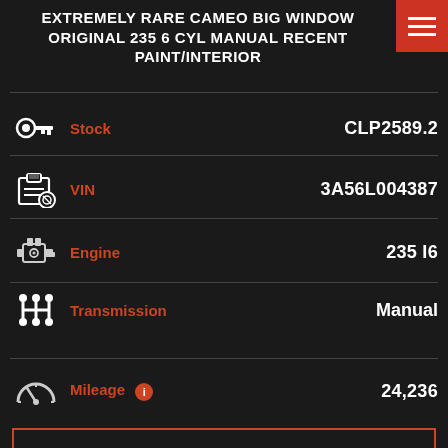EXTREMELY RARE CAMEO BIG WINDOW ORIGINAL 235 6 CYL MANUAL RECENT PAINT/INTERIOR
| Field | Value |
| --- | --- |
| Stock | CLP2589.2 |
| VIN | 3A56L004387 |
| Engine | 235 I6 |
| Transmission | Manual |
| Mileage | 24,236 |
REQUEST MORE INFO